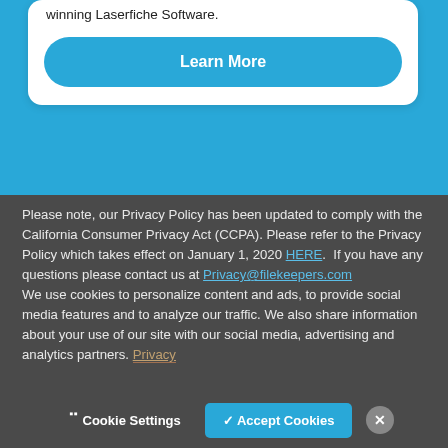[Figure (screenshot): Blue background section with a white card containing a Learn More button]
winning Laserfiche Software.
Learn More
Please note, our Privacy Policy has been updated to comply with the California Consumer Privacy Act (CCPA). Please refer to the Privacy Policy which takes effect on January 1, 2020 HERE.  If you have any questions please contact us at Privacy@filekeepers.com
We use cookies to personalize content and ads, to provide social media features and to analyze our traffic. We also share information about your use of our site with our social media, advertising and analytics partners. Privacy
❯ Cookie Settings
✓ Accept Cookies